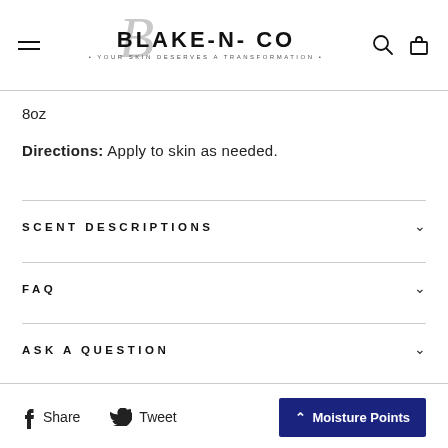BLAKE-N-CO · YOUR SKIN DESERVES A TRANSFORMATION ·
8oz
Directions: Apply to skin as needed.
SCENT DESCRIPTIONS
FAQ
ASK A QUESTION
Share  Tweet  Moisture Points